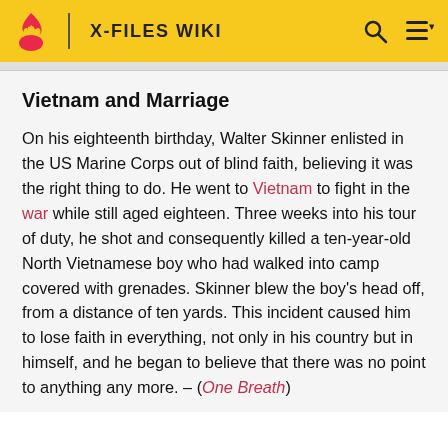X-FILES WIKI
Vietnam and Marriage
On his eighteenth birthday, Walter Skinner enlisted in the US Marine Corps out of blind faith, believing it was the right thing to do. He went to Vietnam to fight in the war while still aged eighteen. Three weeks into his tour of duty, he shot and consequently killed a ten-year-old North Vietnamese boy who had walked into camp covered with grenades. Skinner blew the boy's head off, from a distance of ten yards. This incident caused him to lose faith in everything, not only in his country but in himself, and he began to believe that there was no point to anything any more. – (One Breath)